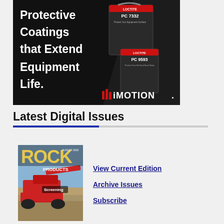[Figure (illustration): Advertisement for iMotion featuring Loctite PC 7332 and PC 9593 protective coatings products in black containers. White bold text reads 'Protective Coatings that Extend Equipment Life.' with the iMotion logo in red and white at bottom right on a dark background.]
Latest Digital Issues
[Figure (photo): Cover of Rock Products magazine showing red screening equipment/machinery in a quarry or mining environment, with the word 'Screening' visible on the cover.]
View Current Edition
Archive Issues
Subscribe